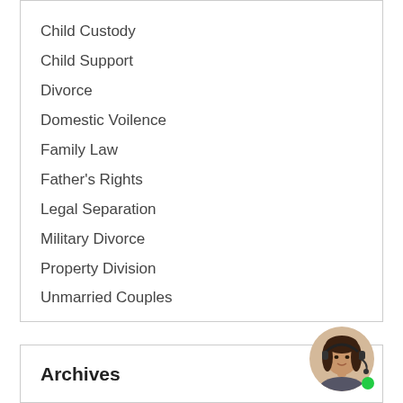Child Custody
Child Support
Divorce
Domestic Voilence
Family Law
Father's Rights
Legal Separation
Military Divorce
Property Division
Unmarried Couples
Archives
[Figure (photo): Customer support representative with headset, green online indicator dot]